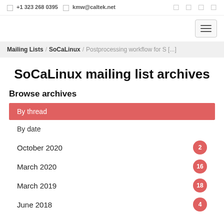☐ +1 323 268 0395  ☐ kmw@caltek.net
SoCaLinux mailing list archives
Mailing Lists / SoCaLinux / Postprocessing workflow for S [...]
SoCaLinux mailing list archives
Browse archives
By thread
By date
October 2020 — 2
March 2020 — 16
March 2019 — 18
June 2018 — 4